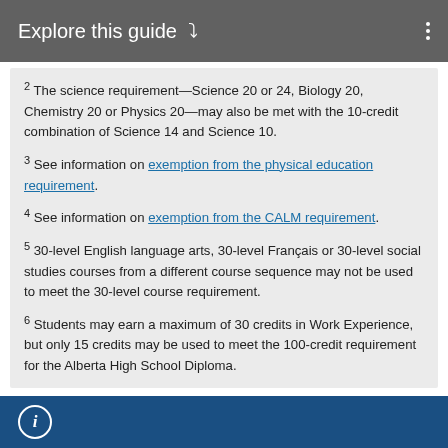Explore this guide ∨
2 The science requirement—Science 20 or 24, Biology 20, Chemistry 20 or Physics 20—may also be met with the 10-credit combination of Science 14 and Science 10.
3 See information on exemption from the physical education requirement.
4 See information on exemption from the CALM requirement.
5 30-level English language arts, 30-level Français or 30-level social studies courses from a different course sequence may not be used to meet the 30-level course requirement.
6 Students may earn a maximum of 30 credits in Work Experience, but only 15 credits may be used to meet the 100-credit requirement for the Alberta High School Diploma.